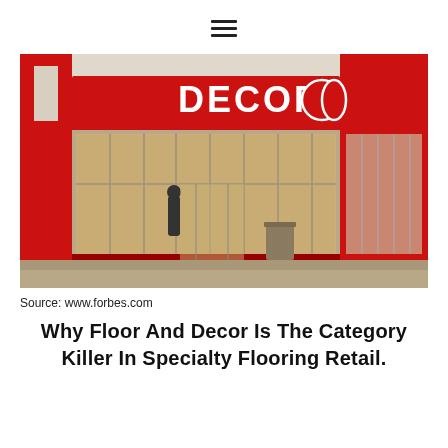[Figure (photo): Exterior photo of a Floor & Decor retail store showing the storefront with red 'DECOR' signage, large glass windows displaying merchandise inside, red architectural columns, and a parking lot in front.]
Source: www.forbes.com
Why Floor And Decor Is The Category Killer In Specialty Flooring Retail.